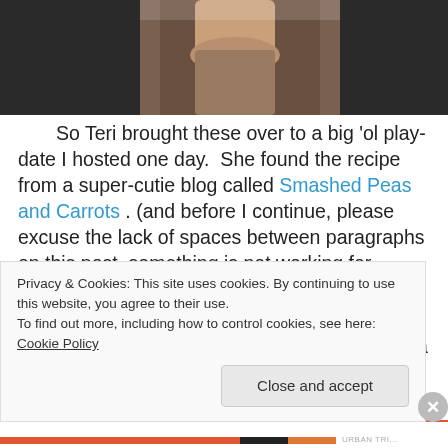[Figure (photo): A close-up photo of a hand holding a glass container, with a brownish/earthy background suggesting a food or drink item.]
So Teri brought these over to a big 'ol play-date I hosted one day.  She found the recipe from a super-cutie blog called Smashed Peas and Carrots . (and before I continue, please excuse the lack of spaces between paragraphs on this post–something is not working for Michelle this morning… but I really wanted to share this with you!)
I like this blog.   Ms. Maggie, the writer, is a mother to four kids under the age of five (yes, you read that
Privacy & Cookies: This site uses cookies. By continuing to use this website, you agree to their use.
To find out more, including how to control cookies, see here: Cookie Policy
Close and accept